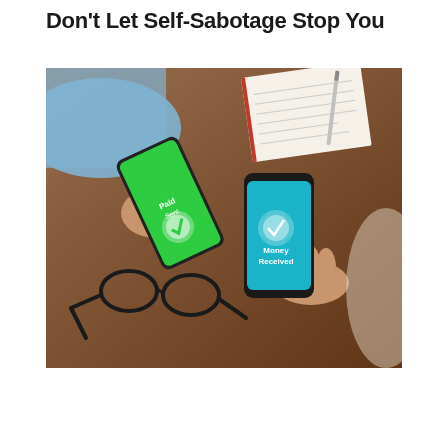Don't Let Self-Sabotage Stop You
[Figure (photo): Two people sitting at a wooden table. One person in a blue shirt holds a black smartphone with a green screen showing a payment sent confirmation. The other person holds a black smartphone with a teal/blue screen showing 'Money Received'. A pair of black glasses and an open notebook with a pen are visible on the table.]